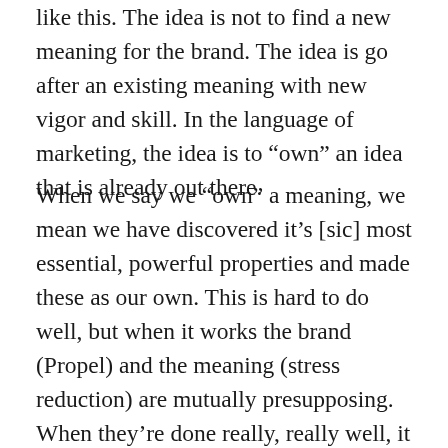like this. The idea is not to find a new meaning for the brand. The idea is go after an existing meaning with new vigor and skill. In the language of marketing, the idea is to “own” an idea that is already out there.
When we say we “own” a meaning, we mean we have discovered it’s [sic] most essential, powerful properties and made these as our own. This is hard to do well, but when it works the brand (Propel) and the meaning (stress reduction) are mutually presupposing. When they’re done really, really well, it is now impossible to think about one without thinking about the other.